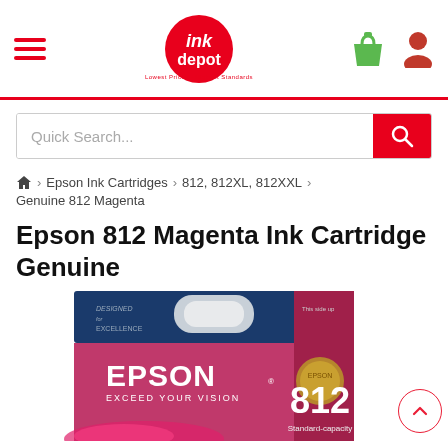[Figure (logo): Ink Depot logo with red circle and shopping bag and user icons in header]
Quick Search...
⌂ > Epson Ink Cartridges > 812, 812XL, 812XXL >
Genuine 812 Magenta
Epson 812 Magenta Ink Cartridge Genuine
[Figure (photo): Epson 812 Magenta Ink Cartridge product box image showing EPSON EXCEED YOUR VISION branding, model number 812, Standard-capacity label]